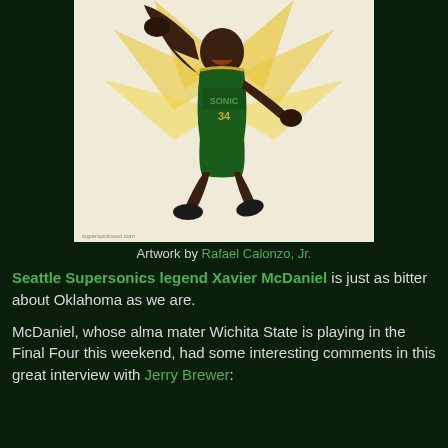[Figure (illustration): Comic-book style illustration of a basketball player in a green and gold Seattle SuperSonics uniform flying through the air with one fist raised, against a light cream/yellow background. Small watermark text reads 'supersonicsoultcom' in bottom left.]
Artwork by Rafael Calonzo, Jr.
Seattle Supersonics legend Xavier McDaniel is just as bitter about Oklahoma as we are.
McDaniel, whose alma mater Wichita State is playing in the Final Four this weekend, had some interesting comments in this great interview with Jerry Brewer: